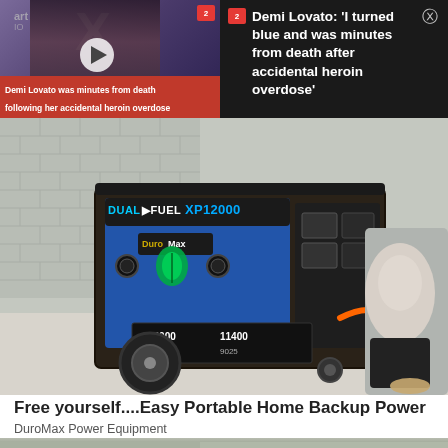[Figure (screenshot): Video thumbnail showing Demi Lovato with play button, red caption bar reading 'Demi Lovato was minutes from death following her accidental heroin overdose', partial FOX and iHeart Radio logos visible in background]
[Figure (screenshot): Dark overlay news panel with Channel 2 badge and close button showing headline text]
Demi Lovato: ‘I turned blue and was minutes from death after accidental heroin overdose’
[Figure (photo): Advertisement photo of DuroMax Dual Fuel XP12000HX portable generator being operated by a person kneeling beside it, against a brick wall background]
Free yourself....Easy Portable Home Backup Power
DuroMax Power Equipment
[Figure (photo): Partial bottom strip showing outdoor scene with building/chimney]